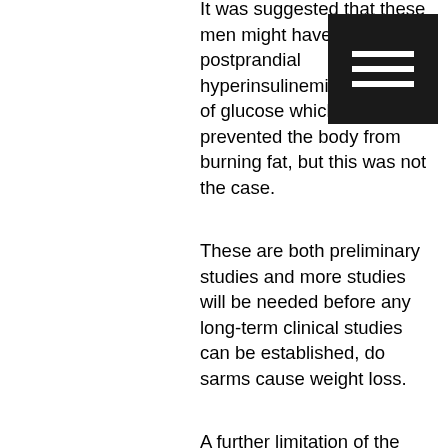It was suggested that these men might have developed postprandial hyperinsulinemia in excess of glucose which then prevented the body from burning fat, but this was not the case.
These are both preliminary studies and more studies will be needed before any long-term clinical studies can be established, do sarms cause weight loss.
A further limitation of the study is that although the data were from the same subjects, there was one patient that did not complete the study, safe cutting steroids. This means that there was no chance that there could be any correlation between the effect of testosterone undecanoate and the lack of a treatment completion outcome data.
The trial may be stopped early if the treatment efficacy cannot be confirmed